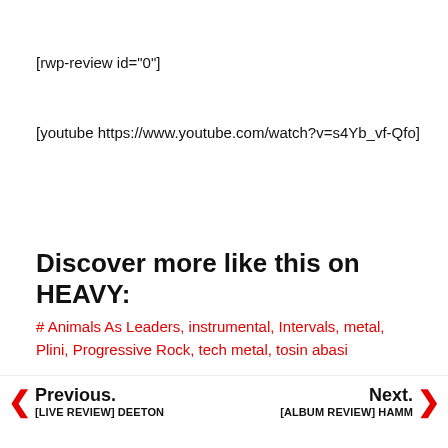[rwp-review id="0"]
[youtube https://www.youtube.com/watch?v=s4Yb_vf-Qfo]
Discover more like this on HEAVY:
# Animals As Leaders, instrumental, Intervals, metal, Plini, Progressive Rock, tech metal, tosin abasi
Previous. [LIVE REVIEW] DEETON   Next. [ALBUM REVIEW] HAMM